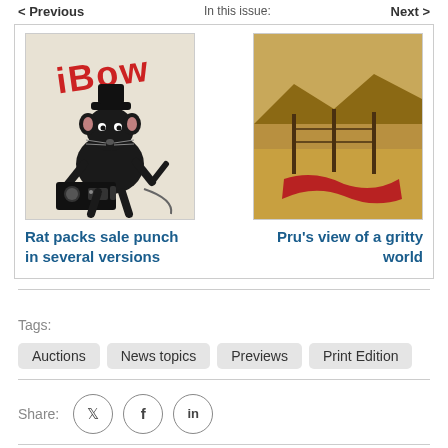< Previous    In this issue:    Next >
[Figure (illustration): Banksy-style stencil artwork of a rat wearing a hat, holding a boombox, with red graffiti text 'IPOV' above]
Rat packs sale punch in several versions
[Figure (illustration): Painting of a desert landscape with fence posts and a red fabric draped on the ground]
Pru's view of a gritty world
Tags:
Auctions
News topics
Previews
Print Edition
Share: